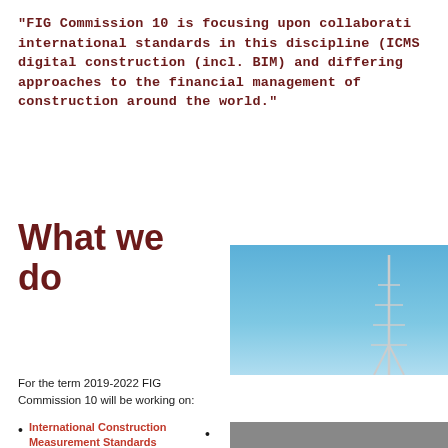"FIG Commission 10 is focusing upon collaboration and international standards in this discipline (ICMS...) digital construction (incl. BIM) and differing approaches to the financial management of construction around the world."
What we do
[Figure (photo): Photo of a tower/antenna against a blue sky, top portion visible]
For the term 2019-2022 FIG Commission 10 will be working on:
International Construction Measurement Standards (WG 10.1)
[Figure (photo): Gray background section of a photo, bottom portion]